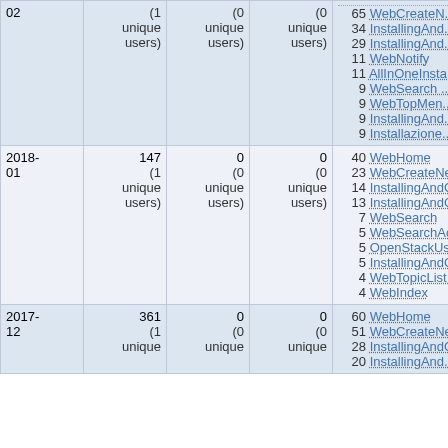| Month | Views | Edits | Contributors | Top Pages |
| --- | --- | --- | --- | --- |
| 02 | (1 unique users) | (0 unique users) | (0 unique users) | 65 WebCreateN...
34 InstallingAnd...
29 InstallingAnd...
11 WebNotify
11 AllInOneInsta...
9 WebSearch...
9 WebTopMen...
9 InstallingAnd...
9 Installazione... |
| 2018-01 | 147
(1 unique users) | 0
(0 unique users) | 0
(0 unique users) | 40 WebHome
23 WebCreateNe...
14 InstallingAndC...
13 InstallingAndC...
7 WebSearch
5 WebSearchAc...
5 OpenStackUs...
5 InstallingAndC...
4 WebTopicList...
4 WebIndex |
| 2017-12 | 361
(1 unique users) | 0
(0 unique users) | 0
(0 unique users) | 60 WebHome
51 WebCreateNe...
28 InstallingAndC...
... InstallingAnd... |